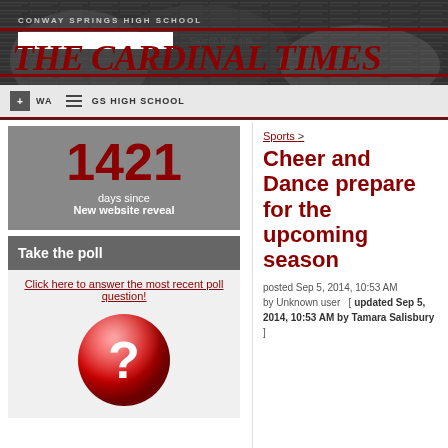[Figure (screenshot): Conway Springs High School - The Cardinal Times newspaper website header banner with newspaper roll background image, red masthead title 'THE CARDINAL TIMES', search box, navigation bar with home icon, hamburger menu, and school name]
1421
days since
New website reveal
Take the poll
Click here to answer the most recent poll question!
[Figure (illustration): Red circular button with white question mark symbol]
Sports >
Cheer and Dance prepare for the upcoming season
posted Sep 5, 2014, 10:53 AM by Unknown user  [ updated Sep 5, 2014, 10:53 AM by Tamara Salisbury ]